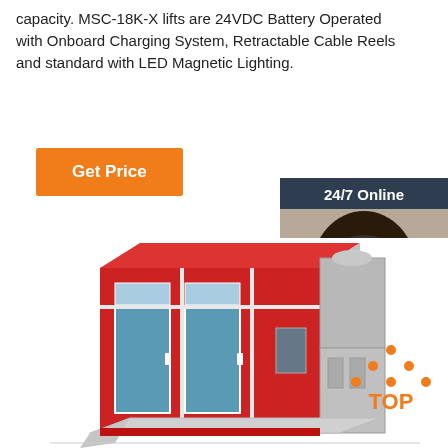capacity. MSC-18K-X lifts are 24VDC Battery Operated with Onboard Charging System, Retractable Cable Reels and standard with LED Magnetic Lighting.
Get Price
[Figure (infographic): 24/7 Online chat widget with woman wearing headset, 'Click here for free chat!' and QUOTATION button]
[Figure (photo): Red industrial spray booth / paint booth product image]
[Figure (logo): TOP icon with orange dots arranged in triangle above orange TOP text]